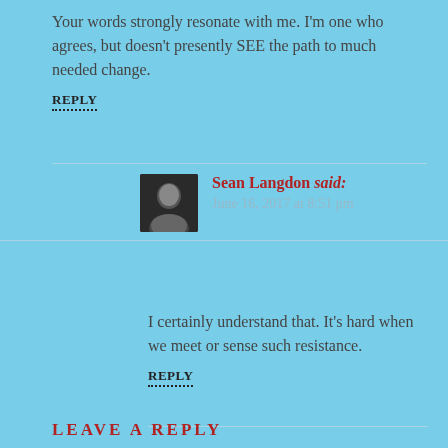Your words strongly resonate with me. I'm one who agrees, but doesn't presently SEE the path to much needed change.
REPLY
Sean Langdon said:
June 16, 2017 at 8:51 pm
I certainly understand that. It's hard when we meet or sense such resistance.
REPLY
LEAVE A REPLY